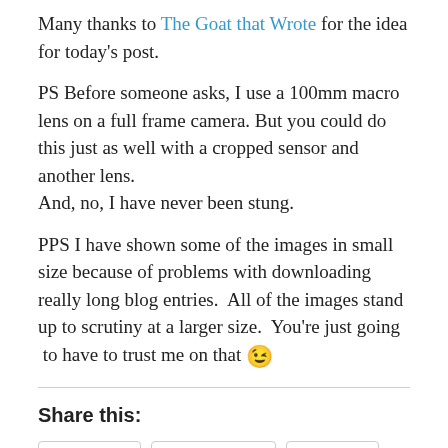Many thanks to The Goat that Wrote for the idea for today’s post.
PS Before someone asks, I use a 100mm macro lens on a full frame camera. But you could do this just as well with a cropped sensor and another lens.
And, no, I have never been stung.
PPS I have shown some of the images in small size because of problems with downloading really long blog entries.  All of the images stand up to scrutiny at a larger size.  You’re just going  to have to trust me on that 😉
Share this:
Twitter  Facebook  More
[Figure (photo): Row of small thumbnail images at the bottom of the page]